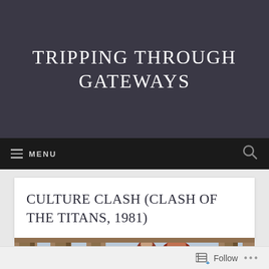Tripping Through Gateways
≡ MENU
Culture Clash (Clash of the Titans, 1981)
[Figure (photo): Scene from Clash of the Titans 1981 showing ancient Greek temple columns with a red-costumed figure and Medusa character visible between the stone pillars against a blue sky]
Follow ...